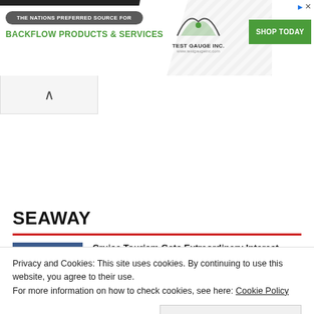[Figure (screenshot): Advertisement banner for Test Gauge Inc. - The Nations Preferred Source for Backflow Products & Services with Shop Today button]
SEAWAY
Cruise Tourism Gets Extraordinary Interest
Privacy and Cookies: This site uses cookies. By continuing to use this website, you agree to their use.
For more information on how to check cookies, see here: Cookie Policy
OK